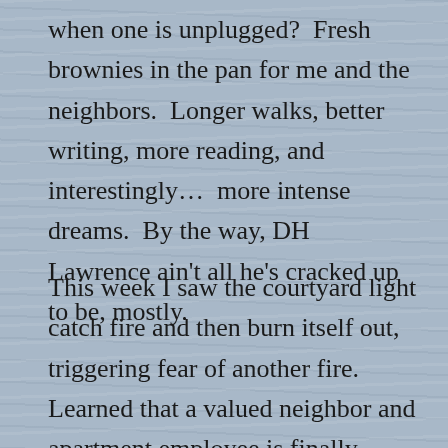when one is unplugged?  Fresh brownies in the pan for me and the neighbors.  Longer walks, better writing, more reading, and interestingly…  more intense dreams.  By the way, DH Lawrence ain't all he's cracked up to be, mostly.
This week I saw the courtyard light catch fire and then burn itself out, triggering fear of another fire.  Learned that a valued neighbor and apartment employee is finally ditching this place.  Had a talking to in the parking lot (in the rain) by my downstairs neighbor who does not appreciate that I walk or breathe or fold my laundry a little